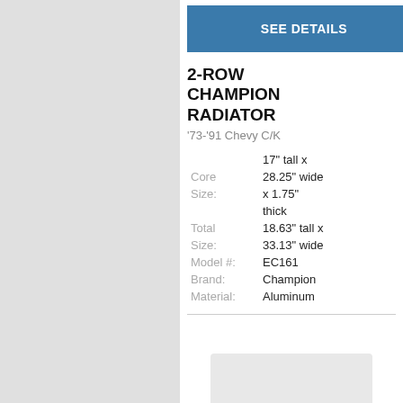[Figure (photo): Left gray panel placeholder]
SEE DETAILS
2-ROW CHAMPION RADIATOR
'73-'91 Chevy C/K
|  | 17" tall x |
| Core | 28.25" wide |
| Size: | x 1.75" |
|  | thick |
| Total | 18.63" tall x |
| Size: | 33.13" wide |
| Model #: | EC161 |
| Brand: | Champion |
| Material: | Aluminum |
[Figure (logo): Champion Cooling Systems logo at bottom]